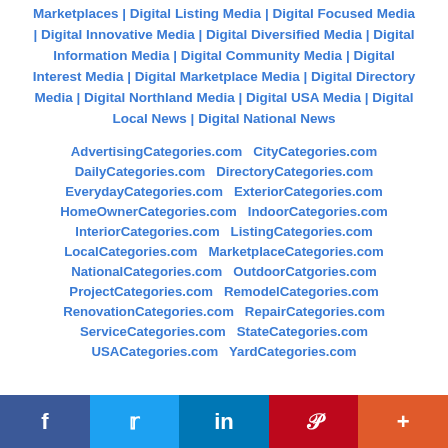Marketplaces | Digital Listing Media | Digital Focused Media | Digital Innovative Media | Digital Diversified Media | Digital Information Media | Digital Community Media | Digital Interest Media | Digital Marketplace Media | Digital Directory Media | Digital Northland Media | Digital USA Media | Digital Local News | Digital National News
AdvertisingCategories.com  CityCategories.com  DailyCategories.com  DirectoryCategories.com  EverydayCategories.com  ExteriorCategories.com  HomeOwnerCategories.com  IndoorCategories.com  InteriorCategories.com  ListingCategories.com  LocalCategories.com  MarketplaceCategories.com  NationalCategories.com  OutdoorCatgories.com  ProjectCategories.com  RemodelCategories.com  RenovationCategories.com  RepairCategories.com  ServiceCategories.com  StateCategories.com  USACategories.com  YardCategories.com
f  Twitter  in  Pinterest  +